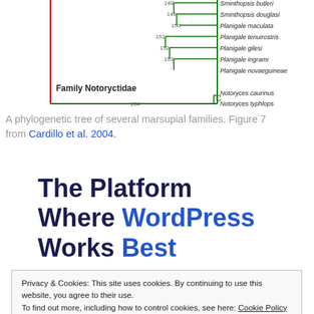[Figure (illustration): Partial phylogenetic tree of marsupial families showing species including Sminthopsis butleri, Sminthopsis douglasi, Planigale maculata, Planigale tenuirostris, Planigale gilesi, Planigale ingrami, Planigale novaeguineae, Notoryces caurinus, Notoryces typhlops. Nodes numbered 148-154. Family Notoryctidae labeled on left. Green and red branch colors.]
A phylogenetic tree of several marsupial families. Figure 7 from Cardillo et al. 2004.
The Platform Where WordPress Works Best
Privacy & Cookies: This site uses cookies. By continuing to use this website, you agree to their use.
To find out more, including how to control cookies, see here: Cookie Policy